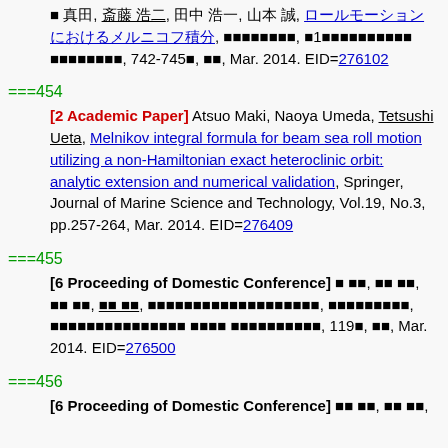（日本語テキスト）, 742-745頁, 東京, Mar. 2014. EID=276102
===454
[2 Academic Paper] Atsuo Maki, Naoya Umeda, Tetsushi Ueta, Melnikov integral formula for beam sea roll motion utilizing a non-Hamiltonian exact heteroclinic orbit: analytic extension and numerical validation, Springer, Journal of Marine Science and Technology, Vol.19, No.3, pp.257-264, Mar. 2014. EID=276409
===455
[6 Proceeding of Domestic Conference] （日本語テキスト）, 119頁, 東京, Mar. 2014. EID=276500
===456
[6 Proceeding of Domestic Conference] （日本語テキスト）